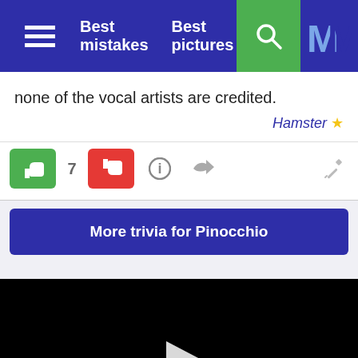Best mistakes  Best pictures
none of the vocal artists are credited.
Hamster ★
7
More trivia for Pinocchio
[Figure (screenshot): Black video player area with a white play button triangle in the center]